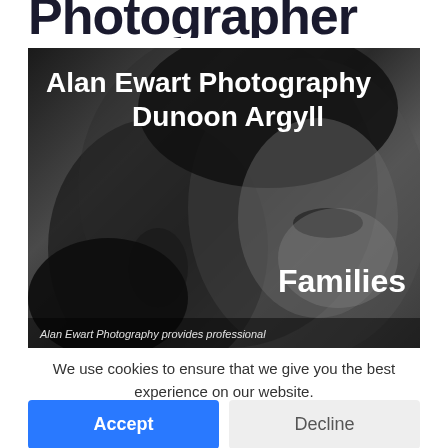Photographer
[Figure (photo): Black and white close-up portrait photo overlaid with text reading 'Alan Ewart Photography Dunoon Argyll' at top and 'Families' at bottom right, with caption 'Alan Ewart Photography provides professional' at bottom]
We use cookies to ensure that we give you the best experience on our website.
Accept
Decline